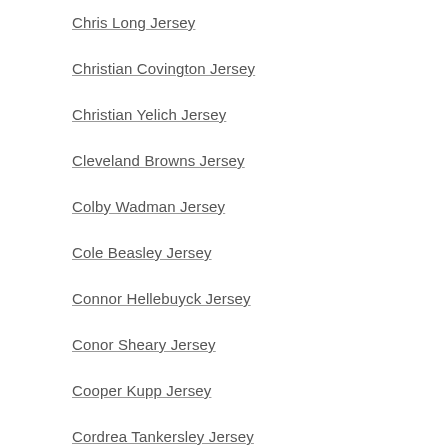Chris Long Jersey
Christian Covington Jersey
Christian Yelich Jersey
Cleveland Browns Jersey
Colby Wadman Jersey
Cole Beasley Jersey
Connor Hellebuyck Jersey
Conor Sheary Jersey
Cooper Kupp Jersey
Cordrea Tankersley Jersey
Corey Liuget Jersey
Corey Peters Jersey
Daniel Jones Jersey
Danny Amendola Jersey